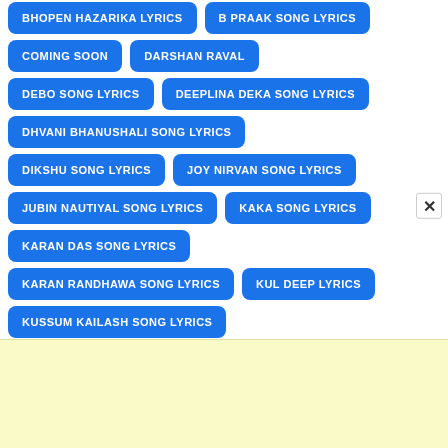BHOPEN HAZARIKA LYRICS
B PRAAK SONG LYRICS
COMING SOON
DARSHAN RAVAL
DEBO SONG LYRICS
DEEPLINA DEKA SONG LYRICS
DHVANI BHANUSHALI SONG LYRICS
DIKSHU SONG LYRICS
JOY NIRVAN SONG LYRICS
JUBIN NAUTIYAL SONG LYRICS
KAKA SONG LYRICS
KARAN DAS SONG LYRICS
KARAN RANDHAWA SONG LYRICS
KUL DEEP LYRICS
KUSSUM KAILASH SONG LYRICS
LAKHINANDAN LAHON SONG LYRICS
LONISMITA DEVI SONG LYRICS
[Figure (other): Advertisement banner (light yellow background)]